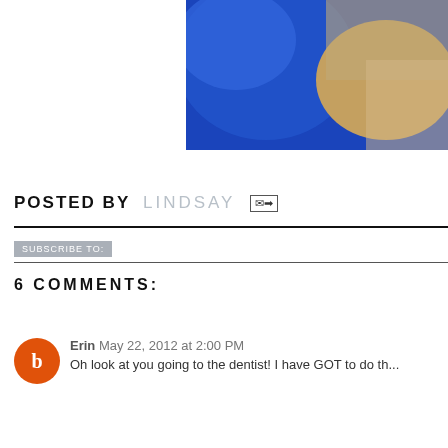[Figure (photo): Partial photo showing person wearing blue shirt, cropped at edges, appears to be at a dentist or medical setting]
POSTED BY LINDSAY [email icon]
Subscribe to: [button]
6 COMMENTS:
Erin May 22, 2012 at 2:00 PM
Oh look at you going to the dentist! I have GOT to do th...